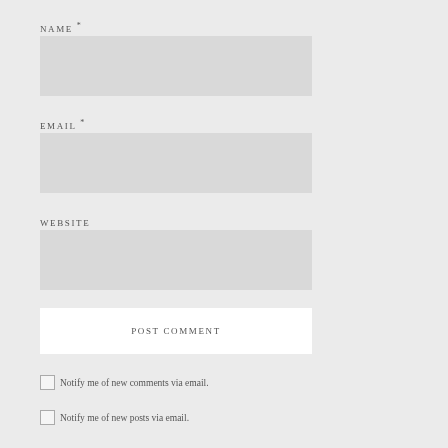NAME *
[Figure (other): Empty text input field for name]
EMAIL *
[Figure (other): Empty text input field for email]
WEBSITE
[Figure (other): Empty text input field for website]
POST COMMENT
Notify me of new comments via email.
Notify me of new posts via email.